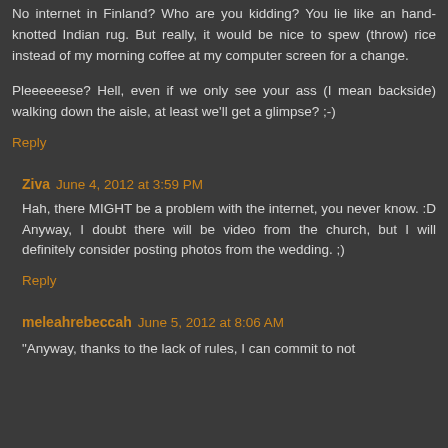No internet in Finland?  Who are you kidding?  You lie like an hand-knotted Indian rug.  But really, it would be nice to spew (throw) rice instead of my morning coffee at my computer screen for a change.
Pleeeeeese?  Hell, even if we only see your ass (I mean backside) walking down the aisle, at least we'll get a glimpse? ;-)
Reply
Ziva June 4, 2012 at 3:59 PM
Hah, there MIGHT be a problem with the internet, you never know. :D Anyway, I doubt there will be video from the church, but I will definitely consider posting photos from the wedding. ;)
Reply
meleahrebeccah June 5, 2012 at 8:06 AM
"Anyway, thanks to the lack of rules, I can commit to not